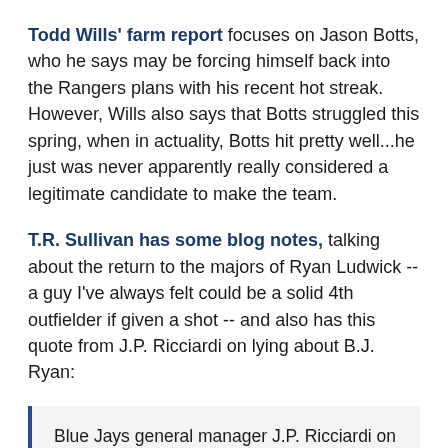Todd Wills' farm report focuses on Jason Botts, who he says may be forcing himself back into the Rangers plans with his recent hot streak. However, Wills also says that Botts struggled this spring, when in actuality, Botts hit pretty well...he just was never apparently really considered a legitimate candidate to make the team.
T.R. Sullivan has some blog notes, talking about the return to the majors of Ryan Ludwick -- a guy I've always felt could be a solid 4th outfielder if given a shot -- and also has this quote from J.P. Ricciardi on lying about B.J. Ryan:
Blue Jays general manager J.P. Ricciardi on why they lied to the media about reliever B.J. Ryan's